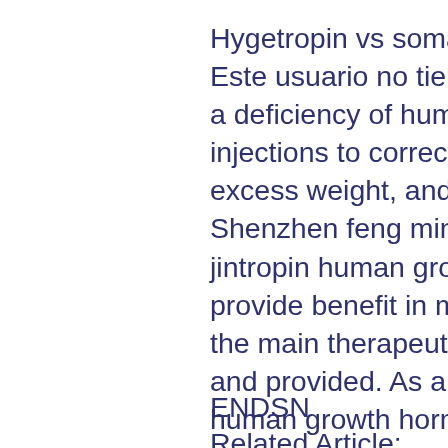Hygetropin vs somatropin, hygetropin vs jintropin. Este usuario no tiene actividad. People who have a deficiency of human growth hormones need hgh injections to correct short stature, obesity or excess weight, and an aging appearance. Shenzhen feng ming biological technology co. As jintropin human growth hormone (hgh) can provide benefit in many areas, we have divided the main therapeutic indcations into categories and provided. As a woman, a decrease in hgh or human growth hormone can result in various side effects as you age such as weight gain. Women who experience hgh treatment. Also, it is very hard to take growth hormone out of china as it violates the law and causes strict punishments. So if you buy jintropin with chinese characters,
ENDSN
Related Article: